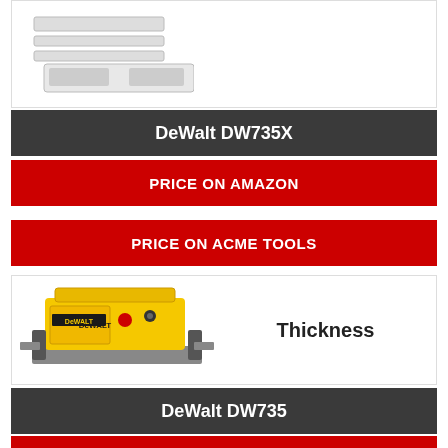[Figure (photo): Partial product image of DeWalt DW735X thickness planer, top portion visible]
DeWalt DW735X
PRICE ON AMAZON
PRICE ON ACME TOOLS
[Figure (photo): DeWalt DW735 thickness planer, yellow and black, full unit visible on white background]
Thickness
DeWalt DW735
PRICE ON AMAZON